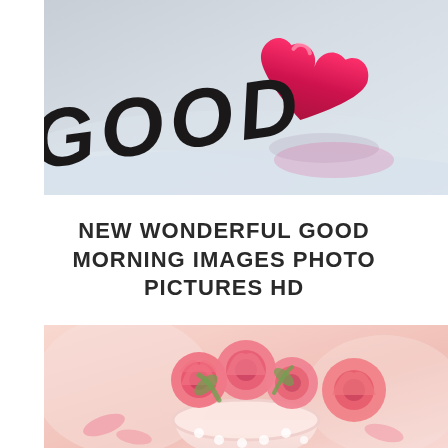[Figure (photo): Photo of 'GOOD' text in bold italic on a snowy surface with a red heart-shaped object, winter/romantic theme]
NEW WONDERFUL GOOD MORNING IMAGES PHOTO PICTURES HD
[Figure (photo): Photo of pink roses in a white polka-dot cup/mug on a soft pink background, romantic good morning theme]